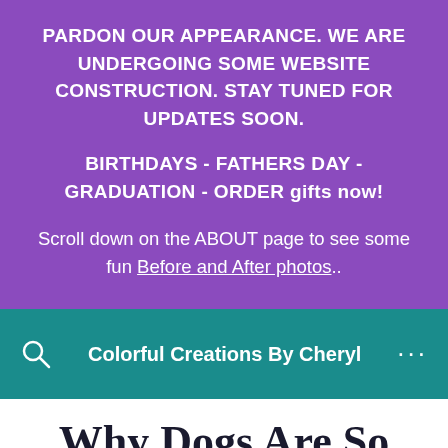PARDON OUR APPEARANCE. WE ARE UNDERGOING SOME WEBSITE CONSTRUCTION. STAY TUNED FOR UPDATES SOON.
BIRTHDAYS - FATHERS DAY - GRADUATION - ORDER gifts now!
Scroll down on the ABOUT page to see some fun Before and After photos..
Colorful Creations By Cheryl
Why Dogs Are So